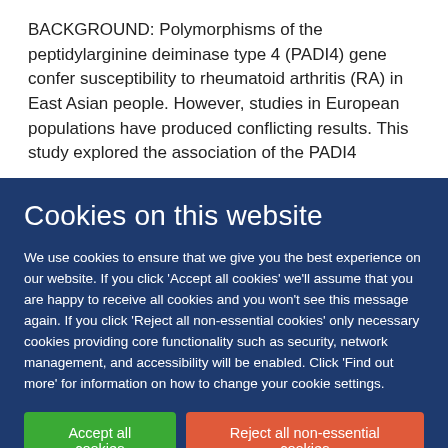BACKGROUND: Polymorphisms of the peptidylarginine deiminase type 4 (PADI4) gene confer susceptibility to rheumatoid arthritis (RA) in East Asian people. However, studies in European populations have produced conflicting results. This study explored the association of the PADI4
Cookies on this website
We use cookies to ensure that we give you the best experience on our website. If you click 'Accept all cookies' we'll assume that you are happy to receive all cookies and you won't see this message again. If you click 'Reject all non-essential cookies' only necessary cookies providing core functionality such as security, network management, and accessibility will be enabled. Click 'Find out more' for information on how to change your cookie settings.
Accept all cookies
Reject all non-essential cookies